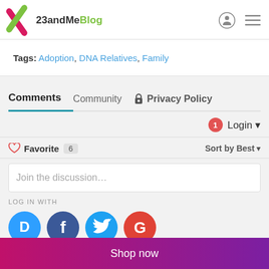23andMeBlog
Tags: Adoption, DNA Relatives, Family
Comments  Community  Privacy Policy
Login
Favorite 6   Sort by Best
Join the discussion...
LOG IN WITH
[Figure (other): Social login icons: Disqus, Facebook, Twitter, Google]
Shop now